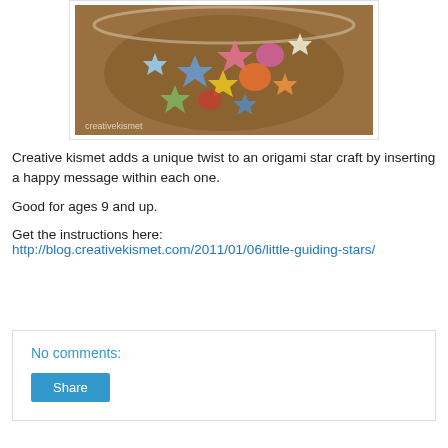[Figure (photo): Bowl filled with colorful origami paper stars in various colors including blue, pink, yellow, orange, and green, photographed from above. Watermark reads 'creativekismet' at bottom left.]
Creative kismet adds a unique twist to an origami star craft by inserting a happy message within each one.

Good for ages 9 and up.

Get the instructions here:
http://blog.creativekismet.com/2011/01/06/little-guiding-stars/
No comments:
Share